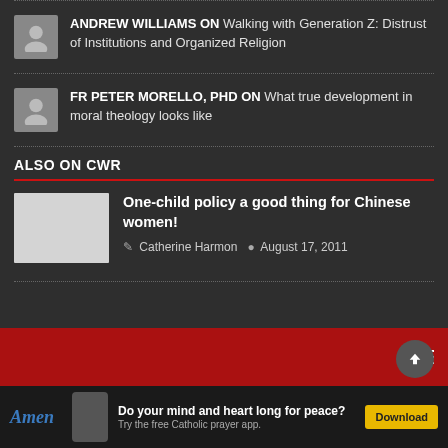ANDREW WILLIAMS ON Walking with Generation Z: Distrust of Institutions and Organized Religion
FR PETER MORELLO, PHD ON What true development in moral theology looks like
ALSO ON CWR
One-child policy a good thing for Chinese women!
Catherine Harmon   August 17, 2011
Do your mind and heart long for peace? Try the free Catholic prayer app.
Download